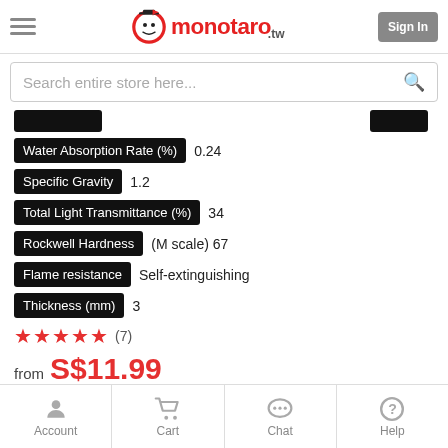monotaro.tw
Search entire store here...
| Property | Value |
| --- | --- |
| Water Absorption Rate (%) | 0.24 |
| Specific Gravity | 1.2 |
| Total Light Transmittance (%) | 34 |
| Rockwell Hardness | (M scale) 67 |
| Flame resistance | Self-extinguishing |
| Thickness (mm) | 3 |
★★★★★ (7)
from S$11.99
Shipping Min. 2 days
Account  Cart  Chat  Help